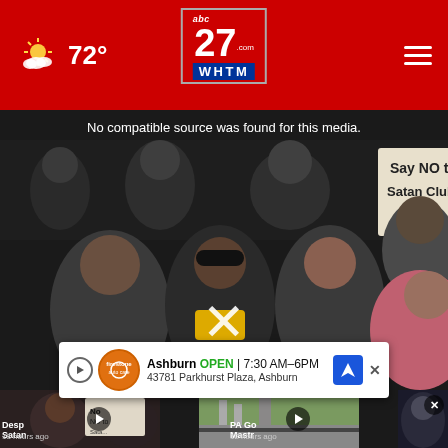72° abc27 WHTM - header navigation bar
[Figure (screenshot): News video player showing crowd of people at a meeting holding a sign reading 'Say NO to Satan Club'. Player shows error: 'No compatible source was found for this media.' with an X close button. Dark auditorium seating with multiple attendees visible.]
[Figure (screenshot): Thumbnail row showing three related video clips: first shows sign 'No to Satan...', second shows outdoor street scene, third partially visible. Each has a play button overlay.]
Desp... Satan... 13 hours ago | PA Gov... Mastr... 12 hours ago
Ashburn  OPEN | 7:30 AM–6 PM  43781 Parkhurst Plaza, Ashburn